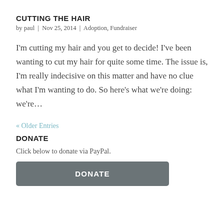CUTTING THE HAIR
by paul | Nov 25, 2014 | Adoption, Fundraiser
I'm cutting my hair and you get to decide! I've been wanting to cut my hair for quite some time. The issue is, I'm really indecisive on this matter and have no clue what I'm wanting to do. So here's what we're doing: we're...
« Older Entries
DONATE
Click below to donate via PayPal.
[Figure (other): A dark grey rounded rectangle button with white bold text reading DONATE]